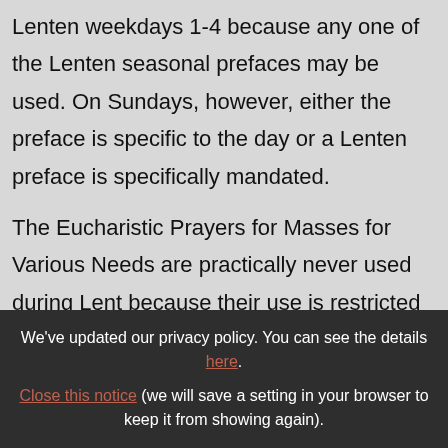Lenten weekdays 1-4 because any one of the Lenten seasonal prefaces may be used. On Sundays, however, either the preface is specific to the day or a Lenten preface is specifically mandated.
The Eucharistic Prayers for Masses for Various Needs are practically never used during Lent because their use is restricted to whenever one of these Masses is celebrated. Since such devotional Masses are excluded
We've updated our privacy policy. You can see the details here. Close this notice (we will save a setting in your browser to keep it from showing again).